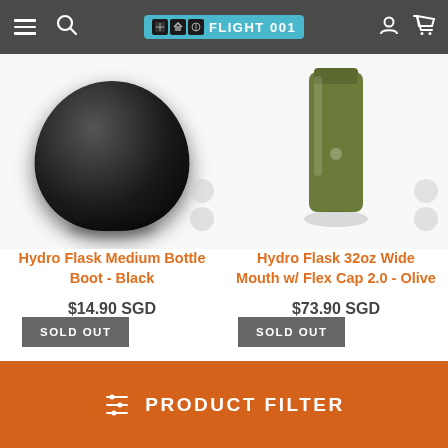[Figure (screenshot): Flight 001 e-commerce website header with hamburger menu, search icon, Flight 001 logo, user icon, and cart icon on dark grey background]
[Figure (photo): Hydro Flask Medium Bottle Boot in Black - circular black rubber boot product image]
Hydro Flask Medium Bottle Boot - Black
$14.90 SGD
SOLD OUT
[Figure (photo): Hydro Flask 32oz Wide Mouth with Flex Cap 2.0 in Olive - green water bottle product image]
Hydro Flask 32oz Wide Mouth w/ Flex Cap 2.0 - Olive
$73.90 SGD
SOLD OUT
PRODUCT FILTER